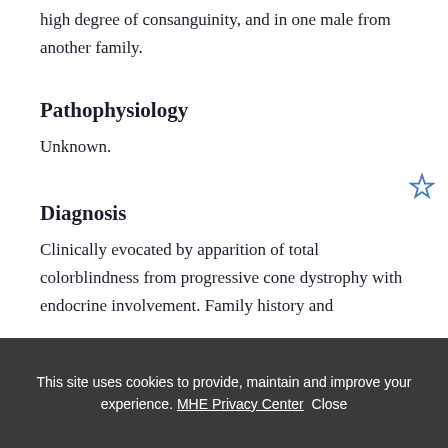high degree of consanguinity, and in one male from another family.
Pathophysiology
Unknown.
Diagnosis
Clinically evocated by apparition of total colorblindness from progressive cone dystrophy with endocrine involvement. Family history and
This site uses cookies to provide, maintain and improve your experience. MHE Privacy Center Close